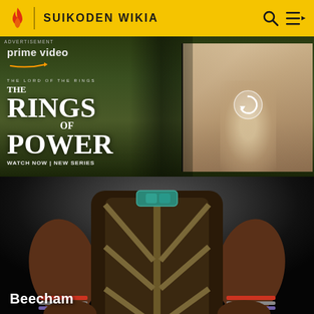SUIKODEN WIKIA
[Figure (screenshot): Amazon Prime Video advertisement for 'The Lord of the Rings: The Rings of Power' new series, split-panel showing fantasy characters]
[Figure (illustration): Fantasy character illustration of Beecham from Suikoden, showing torso with decorative armor featuring geometric patterns and teal gems]